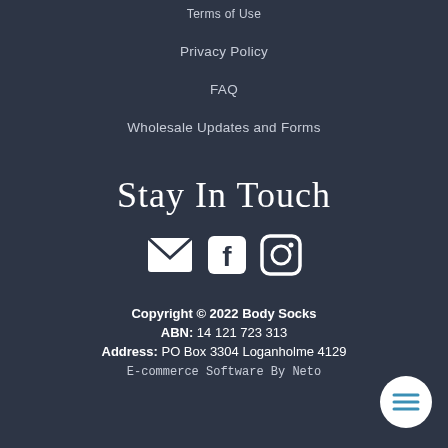Terms of Use
Privacy Policy
FAQ
Wholesale Updates and Forms
Stay In Touch
[Figure (illustration): Three social media icons: envelope (email), Facebook, Instagram]
Copyright © 2022 Body Socks
ABN: 14 121 723 313
Address: PO Box 3304 Loganholme 4129
E-commerce Software By Neto